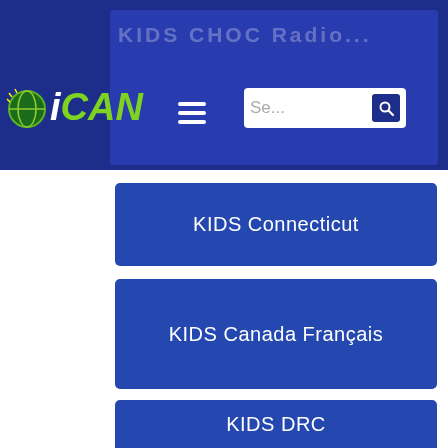[Figure (screenshot): iCAN website header with logo, hamburger menu, search box, and faint 'KIDS CHOC Radio' background text on a dark blue semi-transparent overlay]
KIDS Connecticut
KIDS Canada Français
KIDS DRC
KIDS Florida